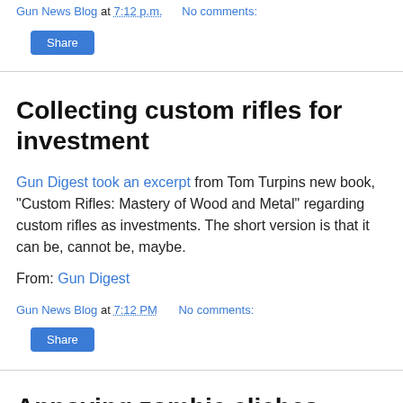Gun News Blog at 7:12 PM   No comments:
Share
Collecting custom rifles for investment
Gun Digest took an excerpt from Tom Turpins new book, "Custom Rifles: Mastery of Wood and Metal" regarding custom rifles as investments. The short version is that it can be, cannot be, maybe.
From: Gun Digest
Gun News Blog at 7:12 PM   No comments:
Share
Annoying zombie cliches